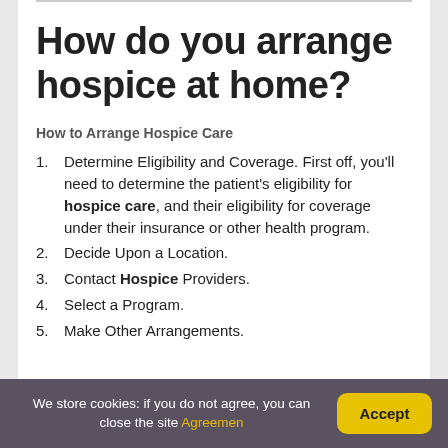How do you arrange hospice at home?
How to Arrange Hospice Care
Determine Eligibility and Coverage. First off, you'll need to determine the patient's eligibility for hospice care, and their eligibility for coverage under their insurance or other health program.
Decide Upon a Location.
Contact Hospice Providers.
Select a Program.
Make Other Arrangements.
We store cookies: if you do not agree, you can close the site Agreemen